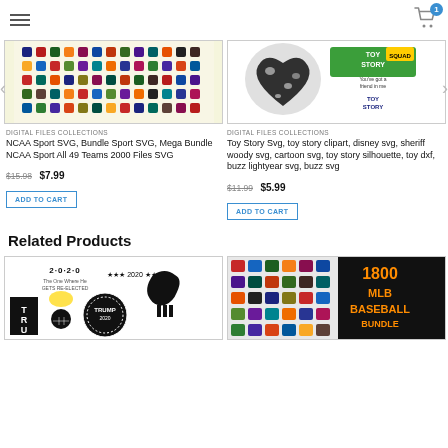Navigation header with hamburger menu and shopping cart (1 item)
[Figure (screenshot): NCAA Sport SVG bundle product image with many sport team logos on white/yellow background]
DIGITAL FILES COLLECTIONS
NCAA Sport SVG, Bundle Sport SVG, Mega Bundle NCAA Sport All 49 Teams 2000 Files SVG
$15.98 $7.99
ADD TO CART
[Figure (screenshot): Toy Story SVG bundle product image with cow-print heart and characters]
DIGITAL FILES COLLECTIONS
Toy Story Svg, toy story clipart, disney svg, sheriff woody svg, cartoon svg, toy story silhouette, toy dxf, buzz lightyear svg, buzz svg
$11.99 $5.99
ADD TO CART
Related Products
[Figure (screenshot): 2020 Trump re-election SVG bundle product image with black and white graphics]
[Figure (screenshot): 1800 MLB Baseball Bundle product image with team logos and orange text]